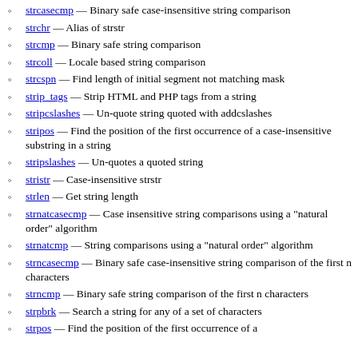strcasecmp — Binary safe case-insensitive string comparison
strchr — Alias of strstr
strcmp — Binary safe string comparison
strcoll — Locale based string comparison
strcspn — Find length of initial segment not matching mask
strip_tags — Strip HTML and PHP tags from a string
stripcslashes — Un-quote string quoted with addcslashes
stripos — Find the position of the first occurrence of a case-insensitive substring in a string
stripslashes — Un-quotes a quoted string
stristr — Case-insensitive strstr
strlen — Get string length
strnatcasecmp — Case insensitive string comparisons using a "natural order" algorithm
strnatcmp — String comparisons using a "natural order" algorithm
strncasecmp — Binary safe case-insensitive string comparison of the first n characters
strncmp — Binary safe string comparison of the first n characters
strpbrk — Search a string for any of a set of characters
strpos — Find the position of the first occurrence of a